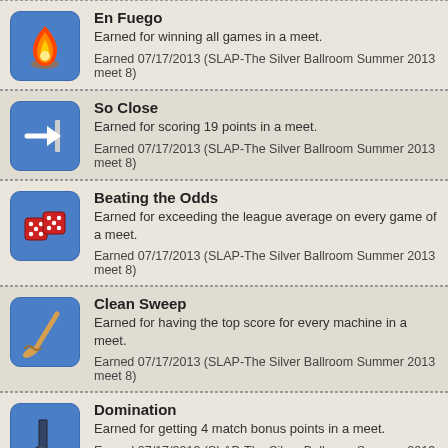En Fuego
Earned for winning all games in a meet.
Earned 07/17/2013 (SLAP-The Silver Ballroom Summer 2013 meet 8)
So Close
Earned for scoring 19 points in a meet.
Earned 07/17/2013 (SLAP-The Silver Ballroom Summer 2013 meet 8)
Beating the Odds
Earned for exceeding the league average on every game of a meet.
Earned 07/17/2013 (SLAP-The Silver Ballroom Summer 2013 meet 8)
Clean Sweep
Earned for having the top score for every machine in a meet.
Earned 07/17/2013 (SLAP-The Silver Ballroom Summer 2013 meet 8)
Domination
Earned for getting 4 match bonus points in a meet.
Earned 07/17/2013 (SLAP-The Silver Ballroom Summer 2013 meet 8)
Lollipop
Earned for having a machine score not ending in zero.
Earned 06/05/2013 (SLAP-The Silver Ballroom Summer 2013 meet 3)